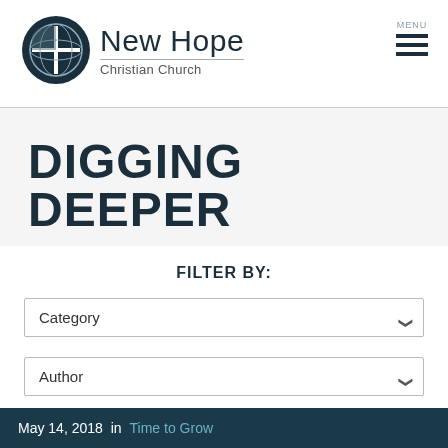[Figure (logo): New Hope Christian Church logo with circular dark navy icon featuring a cross and globe, followed by 'New Hope' in large text and 'Christian Church' in smaller text below]
MENU (hamburger icon)
DIGGING DEEPER
FILTER BY:
Category (dropdown)
Author (dropdown)
Archive (dropdown)
May 14, 2018 in Time to Grow